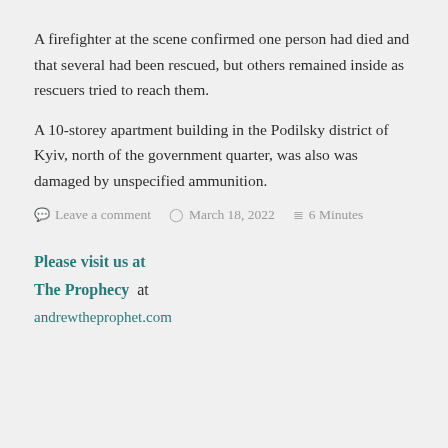A firefighter at the scene confirmed one person had died and that several had been rescued, but others remained inside as rescuers tried to reach them.
A 10-storey apartment building in the Podilsky district of Kyiv, north of the government quarter, was also was damaged by unspecified ammunition.
Leave a comment  March 18, 2022  6 Minutes
Please visit us at
The Prophecy  at
andrewtheprophet.com